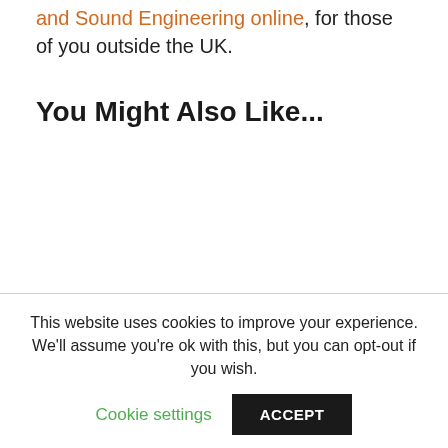and Sound Engineering online, for those of you outside the UK.
You Might Also Like...
This website uses cookies to improve your experience. We'll assume you're ok with this, but you can opt-out if you wish.